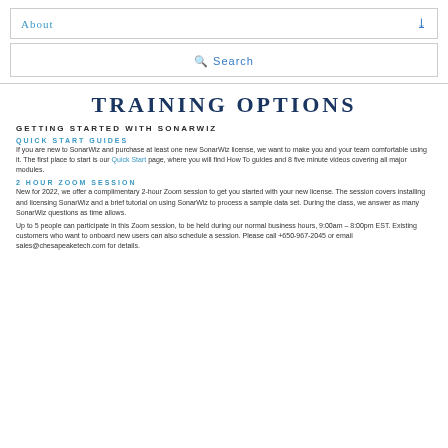About
Search
TRAINING OPTIONS
GETTING STARTED WITH SONARWIZ
QUICK START GUIDES
If you are new to SonarWiz and purchase at least one new SonarWiz license, we want to make you and your team comfortable using it. The first place to start is our Quick Start page, where you will find How To guides and 8 five minute videos covering all major modules.
2 HOUR ZOOM SESSION
New for 2022, we offer a complimentary 2-hour Zoom session to get you started with your new license. The session covers installing and licensing SonarWiz and a brief tutorial on using SonarWiz to process a sample data set. During the class, we answer as many SonarWiz questions as time allows.
Up to 5 people can participate in this Zoom session, to be held during our normal business hours, 9:00am – 8:00pm EST. Existing customers who want to onboard new users can also schedule a session. Please call +650-967-2045 or email sales@chesapeaketech.com for details.